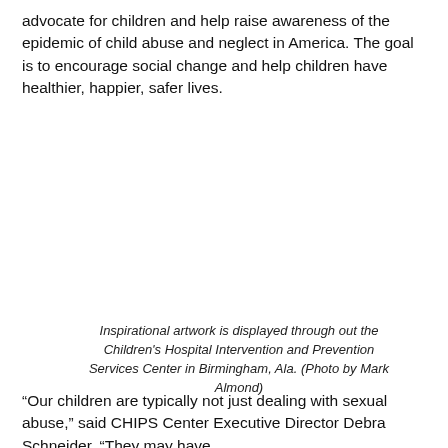advocate for children and help raise awareness of the epidemic of child abuse and neglect in America. The goal is to encourage social change and help children have healthier, happier, safer lives.
Inspirational artwork is displayed through out the Children's Hospital Intervention and Prevention Services Center in Birmingham, Ala. (Photo by Mark Almond)
“Our children are typically not just dealing with sexual abuse,” said CHIPS Center Executive Director Debra Schneider. “They may have